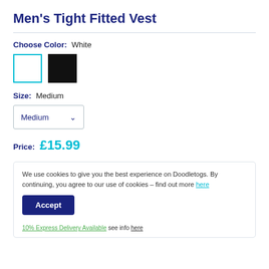Men's Tight Fitted Vest
Choose Color: White
[Figure (other): Two color swatches: white (selected, cyan border) and black]
Size: Medium
[Figure (other): Dropdown selector showing Medium with chevron]
Price: £15.99
We use cookies to give you the best experience on Doodletogs. By continuing, you agree to our use of cookies – find out more here
Accept
10% Express Delivery Available see info here